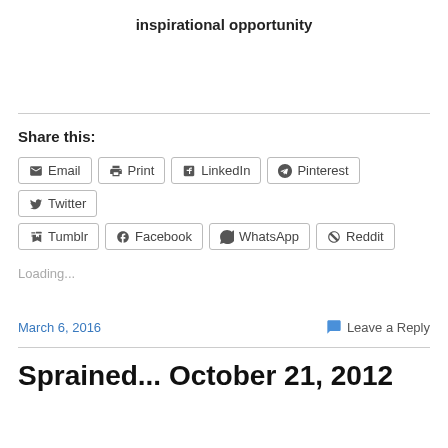inspirational opportunity
Share this:
Email  Print  LinkedIn  Pinterest  Twitter  Tumblr  Facebook  WhatsApp  Reddit
Loading...
March 6, 2016
Leave a Reply
Sprained... October 21, 2012